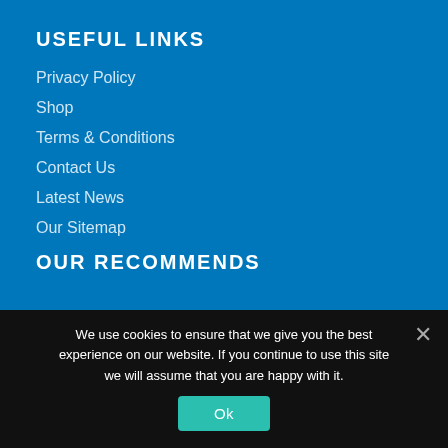USEFUL LINKS
Privacy Policy
Shop
Terms & Conditions
Contact Us
Latest News
Our Sitemap
OUR RECOMMENDS
We use cookies to ensure that we give you the best experience on our website. If you continue to use this site we will assume that you are happy with it.
Ok